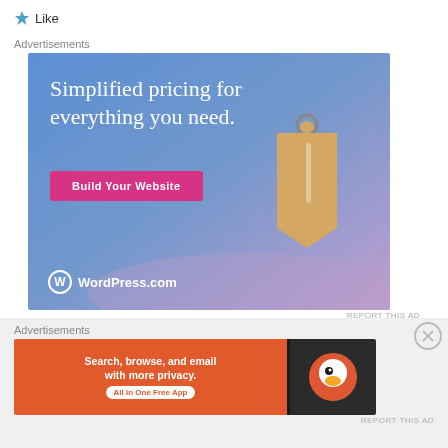Like
Advertisements
[Figure (illustration): WordPress.com advertisement: 'Simplified pricing for everything you need.' with a pink 'Build Your Website' button and a price tag graphic. WordPress.com logo at bottom left.]
REPORT THIS AD
Advertisements
[Figure (illustration): DuckDuckGo advertisement: 'Search, browse, and email with more privacy. All in One Free App' on orange background with DuckDuckGo logo on dark right panel.]
REPORT THIS AD